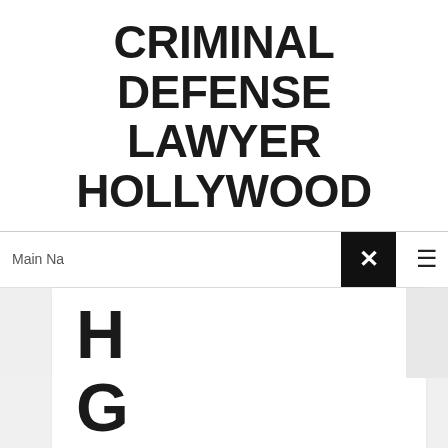CRIMINAL DEFENSE LAWYER HOLLYWOOD
Main Na
[Figure (screenshot): Navigation bar with close (X) button and hamburger menu icon]
H
G
B
Rec